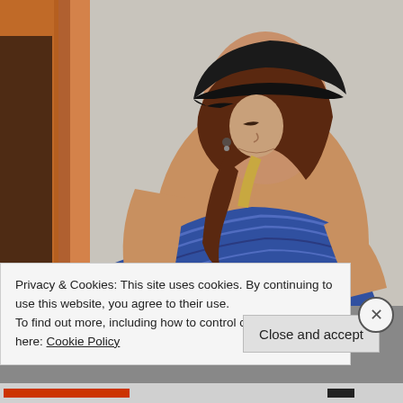[Figure (photo): A woman wearing a black cap and blue striped top, looking downward, photographed indoors against a light wall.]
Privacy & Cookies: This site uses cookies. By continuing to use this website, you agree to their use.
To find out more, including how to control cookies, see here: Cookie Policy
Close and accept